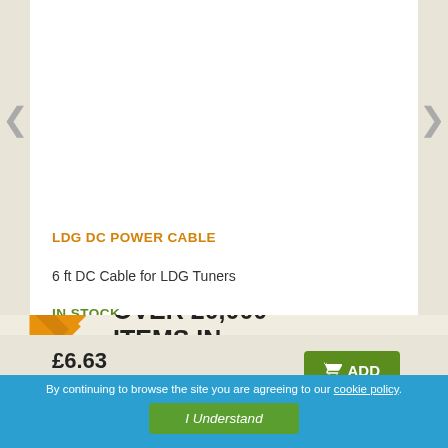LDG DC POWER CABLE
6 ft DC Cable for LDG Tuners
IN STOCK
£6.63
ex VAT
ADD
OVER 20,000 ITEMS IN STOCK
By continuing to browse the site you are agreeing to our cookie policy.
I Understand